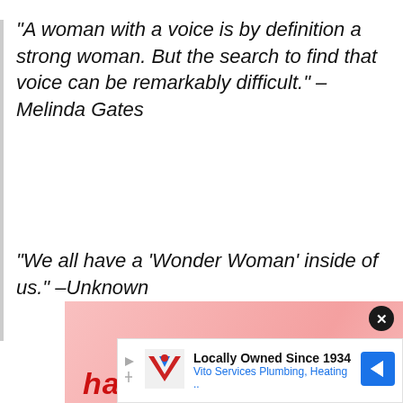“A woman with a voice is by definition a strong woman. But the search to find that voice can be remarkably difficult.” – Melinda Gates
“We all have a ‘Wonder Woman’ inside of us.” –Unknown
[Figure (illustration): Pink banner advertisement background with red decorative text partially visible at bottom]
Locally Owned Since 1934 Vito Services Plumbing, Heating ..